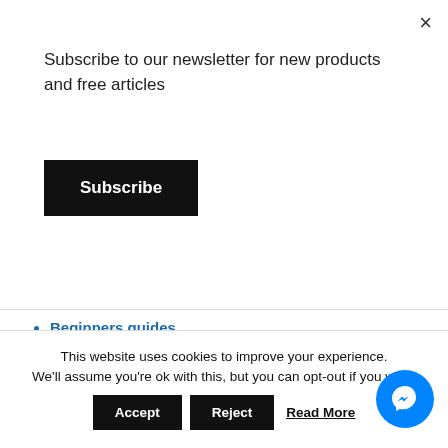Subscribe to our newsletter for new products and free articles
Subscribe
×
Beginners guides
Building reference photos
Classic Cars
Early Diesel locomotives
Heritage Lines
Hornby Locomotives
Infrastructure reference photos
Kit builds
Landscape reference photos
Locomotive reference photos
This website uses cookies to improve your experience. We'll assume you're ok with this, but you can opt-out if you wish.
Accept
Reject
Read More